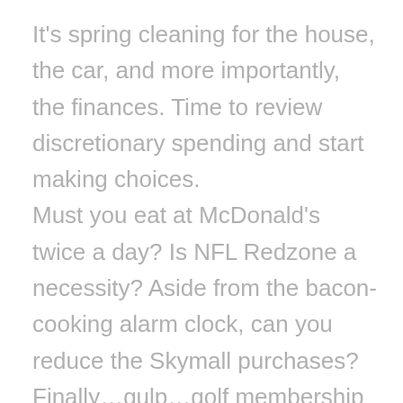It's spring cleaning for the house, the car, and more importantly, the finances. Time to review discretionary spending and start making choices.
Must you eat at McDonald's twice a day? Is NFL Redzone a necessity? Aside from the bacon-cooking alarm clock, can you reduce the Skymall purchases?
Finally…gulp…golf membership or gym membership?
On the surface it's an easy decision. The average gym membership costs $800 per year. Let's say